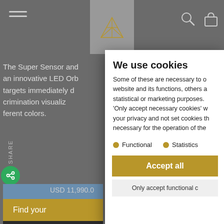Navigation bar with hamburger menu, logo, search and bag icons
The Super Sensor and an innovative LED Orb targets immediately du crimination visualiz ferent colors.
[Figure (screenshot): Product image showing a person's legs in dark pants against a blue sky background]
USD 11,990.0
Find your
We use cookies
Some of these are necessary to o website and its functions, others a statistical or marketing purposes. 'Only accept necessary cookies' w your privacy and not set cookies th necessary for the operation of the
Functional
Statistics
Accept all
Only accept functional c